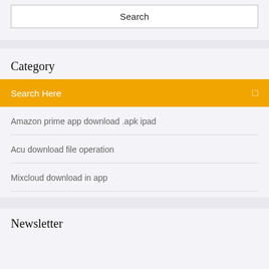Search
Category
Search Here
Amazon prime app download .apk ipad
Acu download file operation
Mixcloud download in app
Newsletter